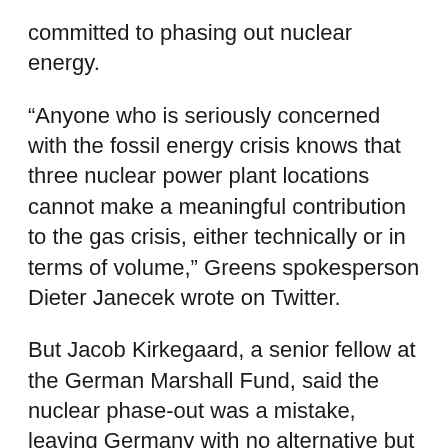committed to phasing out nuclear energy.
“Anyone who is seriously concerned with the fossil energy crisis knows that three nuclear power plant locations cannot make a meaningful contribution to the gas crisis, either technically or in terms of volume,” Greens spokesperson Dieter Janecek wrote on Twitter.
But Jacob Kirkegaard, a senior fellow at the German Marshall Fund, said the nuclear phase-out was a mistake, leaving Germany with no alternative but to increase its reliance on coal – which in addition to the environmental impact will damage the